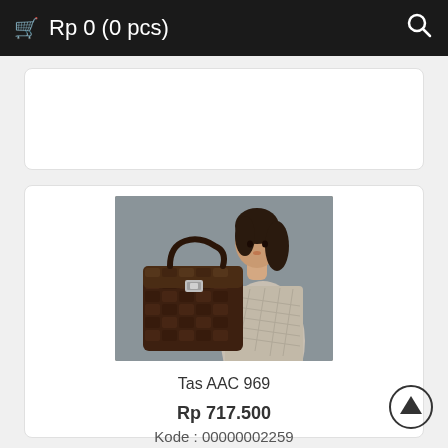🛒 Rp 0 (0 pcs)
[Figure (photo): Photo of a woman in a patterned dress holding a large dark brown crocodile-leather handbag against a grey background]
Tas AAC 969
Rp 717.500
Kode : 00000002259